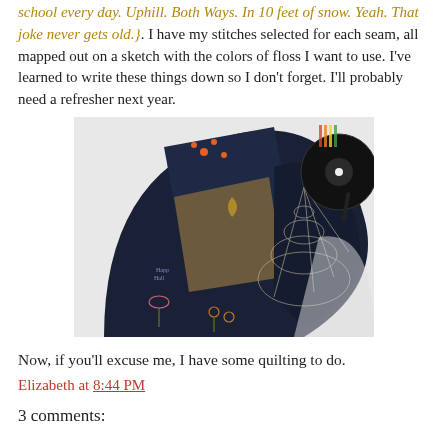school every day. Uphill. Both Ways. In 10 feet of snow. Yeah. That joke never gets old.}. I have my stitches selected for each seam, all mapped out on a sketch with the colors of floss I want to use. I've learned to write these things down so I don't forget. I'll probably need a refresher next year.
[Figure (photo): A quilted fan-shaped textile piece laid on a white surface. The fabric sections are dark navy/black with embroidery including a spider web, floral designs, crescent moon, and patchwork panels in dark blue with small floral prints. A vinyl record and a pen are partially visible at the top right.]
Now, if you'll excuse me, I have some quilting to do.
Elizabeth at 8:44 PM
3 comments: